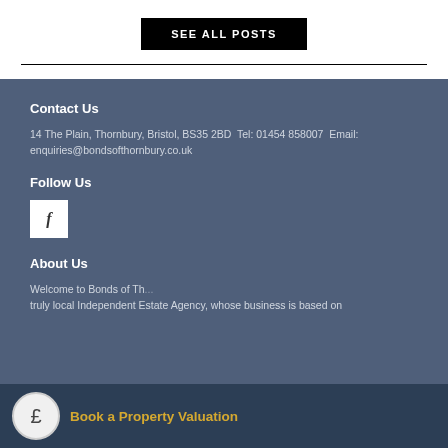SEE ALL POSTS
Contact Us
14 The Plain, Thornbury, Bristol, BS35 2BD  Tel: 01454 858007  Email: enquiries@bondsofthornbury.co.uk
Follow Us
[Figure (logo): Facebook icon - white square with letter f]
About Us
Welcome to Bonds of Th... truly local Independent Estate Agency, whose business is based on
Book a Property Valuation